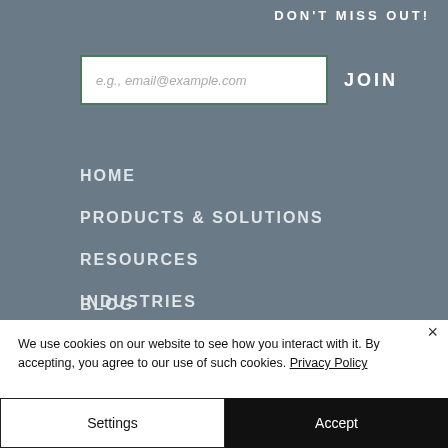DON'T MISS OUT!
e.g., email@example.com
JOIN
HOME
PRODUCTS & SOLUTIONS
RESOURCES
INDUSTRIES
LOCATIONS
BLOG
We use cookies on our website to see how you interact with it. By accepting, you agree to our use of such cookies. Privacy Policy
Settings
Accept